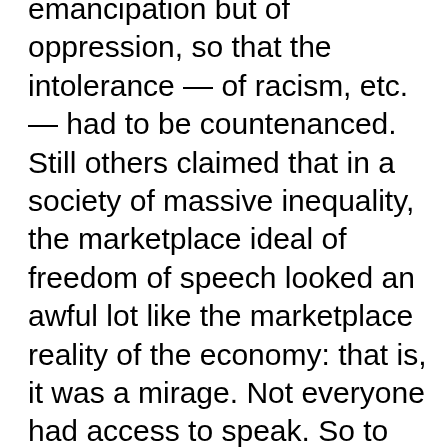emancipation but of oppression, so that the intolerance — of racism, etc. — had to be countenanced. Still others claimed that in a society of massive inequality, the marketplace ideal of freedom of speech looked an awful lot like the marketplace reality of the economy: that is, it was a mirage. Not everyone had access to speak. So to create access of those who were on the bottom, you had to limit access of those at the top. And there were even more radical arguments about the ways in which people's interests and ideologies were constructed by forces more powerful than they such that any kind of freedom in a capitalist (or sexist or what have you) society was a mirage. I'm not doing justice to these arguments, and some of them were extremely sophisticated.